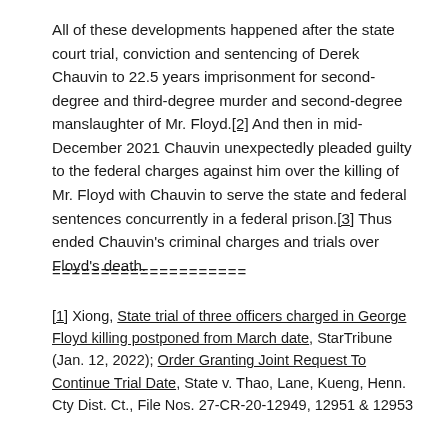All of these developments happened after the state court trial, conviction and sentencing of Derek Chauvin to 22.5 years imprisonment for second-degree and third-degree murder and second-degree manslaughter of Mr. Floyd.[2] And then in mid-December 2021 Chauvin unexpectedly pleaded guilty to the federal charges against him over the killing of Mr. Floyd with Chauvin to serve the state and federal sentences concurrently in a federal prison.[3] Thus ended Chauvin's criminal charges and trials over Floyd's death.
====================
[1] Xiong, State trial of three officers charged in George Floyd killing postponed from March date, StarTribune (Jan. 12, 2022); Order Granting Joint Request To Continue Trial Date, State v. Thao, Lane, Kueng, Henn. Cty Dist. Ct., File Nos. 27-CR-20-12949, 12951 & 12953